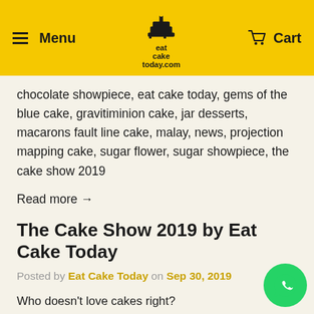Menu | eat cake today.com | Cart
chocolate showpiece, eat cake today, gems of the blue cake, gravitiminion cake, jar desserts, macarons fault line cake, malay, news, projection mapping cake, sugar flower, sugar showpiece, the cake show 2019
Read more →
The Cake Show 2019 by Eat Cake Today
Posted by Eat Cake Today on Sep 30, 2019
Who doesn't love cakes right?
I was so excited when I was told I would be attending the one and only cake show in Malaysia hosted by Eat Cake Today, The Cake Show 2019 was hosted at WeWork Equatorial Plaza and its set to create quite a stir with platform to showcase popular and future creative trends of a different kind – CAKES & BAKERY ARTS.